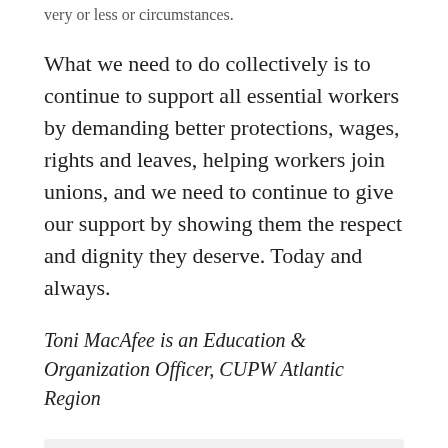very or less or circumstances.
What we need to do collectively is to continue to support all essential workers by demanding better protections, wages, rights and leaves, helping workers join unions, and we need to continue to give our support by showing them the respect and dignity they deserve. Today and always.
Toni MacAfee is an Education & Organization Officer, CUPW Atlantic Region
See also: Toni MacAfee: As the planet heats up, Canada Post is asleep at the wheel